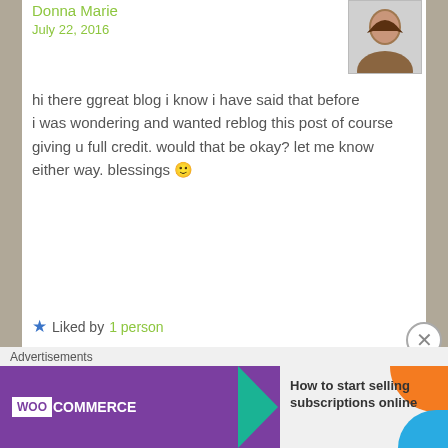Donna Marie
July 22, 2016
hi there ggreat blog i know i have said that before
i was wondering and wanted reblog this post of course giving u full credit. would that be okay? let me know either way. blessings 🙂
★ Liked by 1 person
Reply
Read Between the Lyme
July 22, 2016
Hi Donna Marie, yes please share! I'm
Advertisements
[Figure (infographic): WooCommerce advertisement banner: purple background with WooCommerce logo, teal arrow, and text 'How to start selling subscriptions online' with orange and blue decorative arcs]